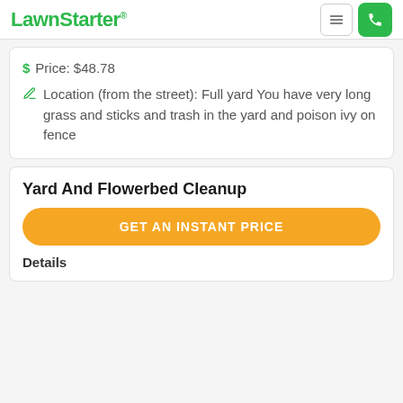LawnStarter®
Price: $48.78
Location (from the street): Full yard You have very long grass and sticks and trash in the yard and poison ivy on fence
Yard And Flowerbed Cleanup
GET AN INSTANT PRICE
Details